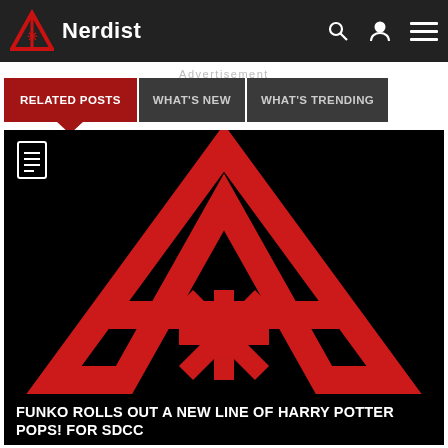Nerdist
Advertisement
RELATED POSTS
WHAT'S NEW
WHAT'S TRENDING
[Figure (logo): Nerdist logo: large red A with asterisk symbol on black background, with a document icon in the top-left corner]
FUNKO ROLLS OUT A NEW LINE OF HARRY POTTER POPS! FOR SDCC